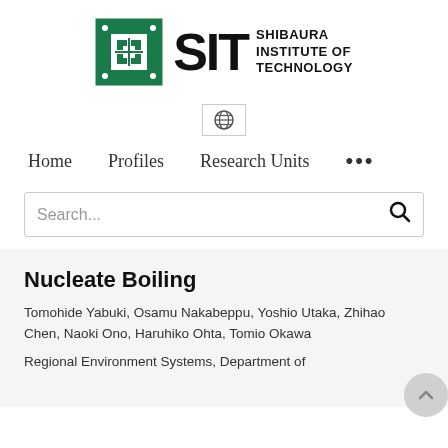[Figure (logo): Shibaura Institute of Technology logo with green emblem, large SIT text, and institution name]
[Figure (other): Language selector button with globe icon]
Home   Profiles   Research Units   ...
Search...
Nucleate Boiling
Tomohide Yabuki, Osamu Nakabeppu, Yoshio Utaka, Zhihao Chen, Naoki Ono, Haruhiko Ohta, Tomio Okawa
Regional Environment Systems, Department of